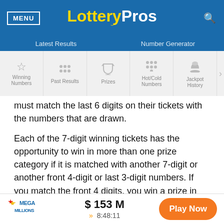MENU | LotteryPros
Latest Results | Number Generator
[Figure (infographic): Navigation tabs with icons: Winning numbers (star icon), Past Results (grid icon), Prizes (trophy icon), Hot/Cold Numbers (dots icon), Jackpot History (bag icon), with right arrow indicating more]
must match the last 6 digits on their tickets with the numbers that are drawn.
Each of the 7-digit winning tickets has the opportunity to win in more than one prize category if it is matched with another 7-digit or another front 4-digit or last 3-digit numbers. If you match the front 4 digits, you win a prize in that
MEGA MILLIONS $153 M >> 8:48:11 Play Now